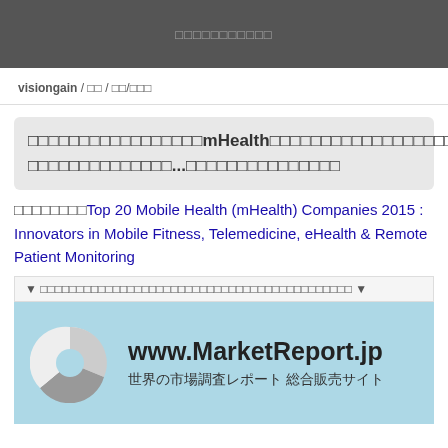□□□□□□□□□□□
visiongain / □□ / □□/□□□
□□□□□□□□□□□□□□□□□mHealth□□□□□□□□□□□□□□□□□□□e □□□□□□□□□□□□□□...□□□□□□□□□□□□□□□
□□□□□□□□Top 20 Mobile Health (mHealth) Companies 2015 : Innovators in Mobile Fitness, Telemedicine, eHealth & Remote Patient Monitoring
▼ □□□□□□□□□□□□□□□□□□□□□□□□□□□□□□□□□□□□□□□□□□□ ▼
[Figure (logo): MarketReport.jp banner with pie chart logo, URL www.MarketReport.jp, and subtitle 世界の市場調査レポート 総合販売サイト]